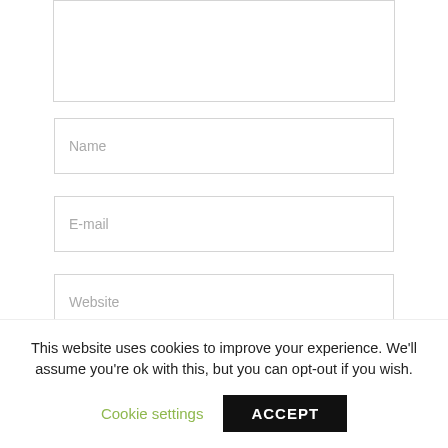[Figure (screenshot): Partial textarea/comment input box at the top of the page, with a light gray border]
Name
E-mail
Website
Save my name, email, and website in this
This website uses cookies to improve your experience. We'll assume you're ok with this, but you can opt-out if you wish.
Cookie settings
ACCEPT